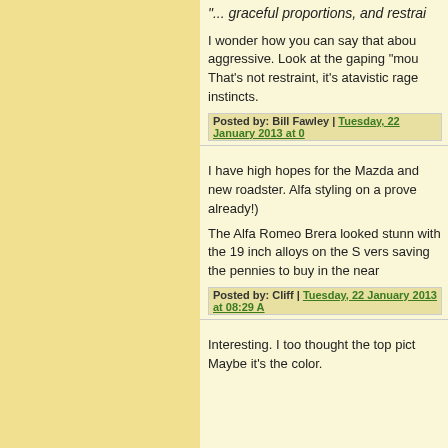"... graceful proportions, and restrai
I wonder how you can say that about something so aggressive. Look at the gaping "mou... That's not restraint, it's atavistic rage instincts.
Posted by: Bill Fawley | Tuesday, 22 January 2013 at 0
I have high hopes for the Mazda and new roadster. Alfa styling on a prove already!)
The Alfa Romeo Brera looked stunn with the 19 inch alloys on the S vers saving the pennies to buy in the near
Posted by: Cliff | Tuesday, 22 January 2013 at 08:29 A
Interesting. I too thought the top pict Maybe it's the color.